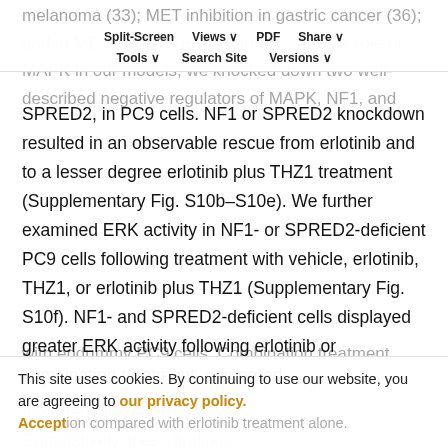melanoma (33); MET inhibition in gastric cancer (36); and to ME... more ... (57)... further... der the role of MAPK in our models, we knocked down two well-described negative regulators of MAPK, NF1, and
Split-Screen | Views | PDF | Share | Tools | Search Site | Versions
SPRED2, in PC9 cells. NF1 or SPRED2 knockdown resulted in an observable rescue from erlotinib and to a lesser degree erlotinib plus THZ1 treatment (Supplementary Fig. S10b–S10e). We further examined ERK activity in NF1- or SPRED2-deficient PC9 cells following treatment with vehicle, erlotinib, THZ1, or erlotinib plus THZ1 (Supplementary Fig. S10f). NF1- and SPRED2-deficient cells displayed greater ERK activity following erlotinib or combination treatment, compared
with endummy PC9 cells. Combination treatment ... reduced ERK ... ion compared with erlotinib treatment alone.
Cumulatively, these findings...
This site uses cookies. By continuing to use our website, you are agreeing to our privacy policy. Accept